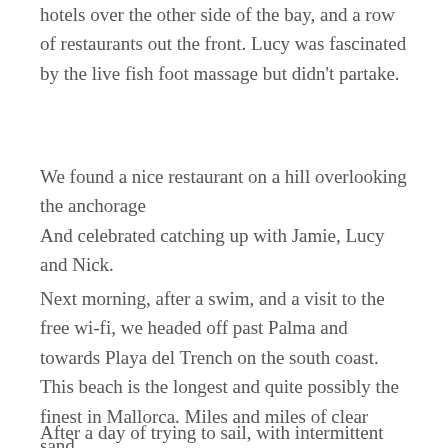hotels over the other side of the bay, and a row of restaurants out the front. Lucy was fascinated by the live fish foot massage but didn't partake.
We found a nice restaurant on a hill overlooking the anchorage
And celebrated catching up with Jamie, Lucy and Nick.
Next morning, after a swim, and a visit to the free wi-fi, we headed off past Palma and towards Playa del Trench on the south coast. This beach is the longest and quite possibly the finest in Mallorca. Miles and miles of clear sand.
After a day of trying to sail, with intermittent